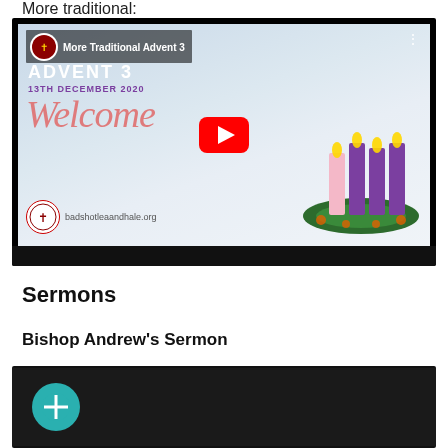More traditional:
[Figure (screenshot): YouTube video thumbnail for 'More Traditional Advent 3' from badshotleaandhale.org, dated 13TH DECEMBER 2020. Shows 'Welcome' text in pink cursive, Advent candles, parish logo, and YouTube play button.]
Sermons
Bishop Andrew's Sermon
[Figure (screenshot): Bottom portion of a second YouTube video thumbnail showing a teal/green circular icon at the left on a dark background.]